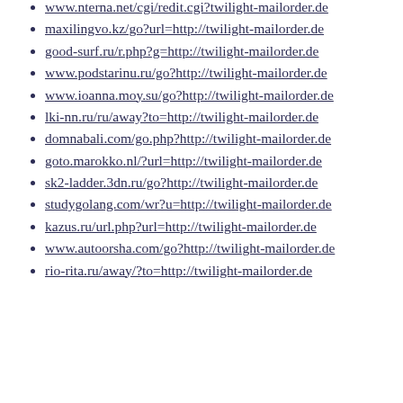www.nterna.net/cgi/redit.cgi?twilight-mailorder.de
maxilingvo.kz/go?url=http://twilight-mailorder.de
good-surf.ru/r.php?g=http://twilight-mailorder.de
www.podstarinu.ru/go?http://twilight-mailorder.de
www.ioanna.moy.su/go?http://twilight-mailorder.de
lki-nn.ru/ru/away?to=http://twilight-mailorder.de
domnabali.com/go.php?http://twilight-mailorder.de
goto.marokko.nl/?url=http://twilight-mailorder.de
sk2-ladder.3dn.ru/go?http://twilight-mailorder.de
studygolang.com/wr?u=http://twilight-mailorder.de
kazus.ru/url.php?url=http://twilight-mailorder.de
www.autoorsha.com/go?http://twilight-mailorder.de
rio-rita.ru/away/?to=http://twilight-mailorder.de